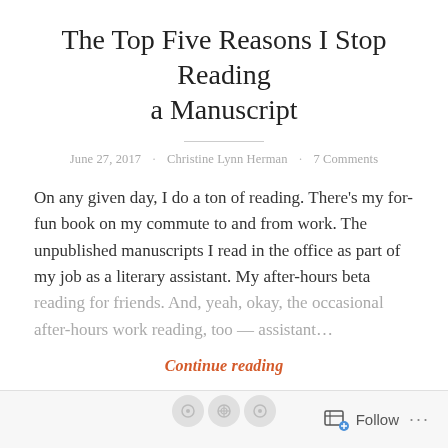The Top Five Reasons I Stop Reading a Manuscript
June 27, 2017 · Christine Lynn Herman · 7 Comments
On any given day, I do a ton of reading. There's my for-fun book on my commute to and from work. The unpublished manuscripts I read in the office as part of my job as a literary assistant. My after-hours beta reading for friends. And, yeah, okay, the occasional after-hours work reading, too — assistant…
Continue reading
Follow